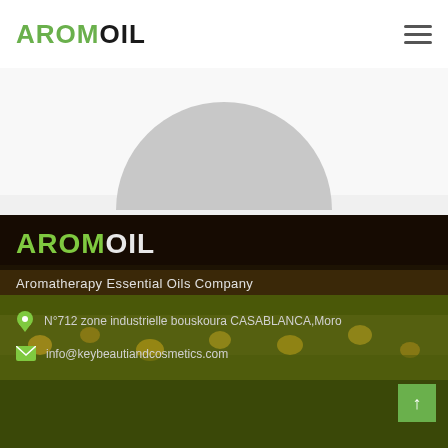AROMOIL
[Figure (illustration): Partial circle/oval shape in light gray, visible at top center of page, cut off by header area]
[Figure (photo): Dark background photograph of a sunflower or agricultural field, used as footer background]
AROMOIL
Aromatherapy Essential Oils Company
N°712 zone industrielle bouskoura CASABLANCA,Moro
info@keybeautiandcosmetics.com